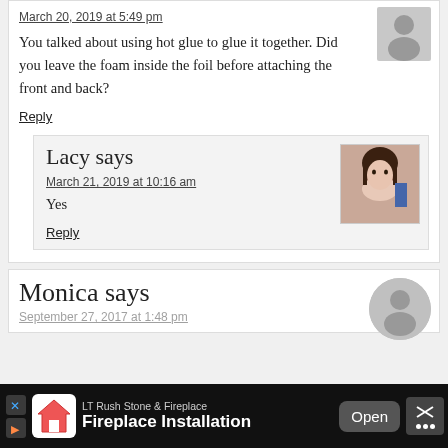March 20, 2019 at 5:49 pm
You talked about using hot glue to glue it together. Did you leave the foam inside the foil before attaching the front and back?
Reply
Lacy says
March 21, 2019 at 10:16 am
Yes
Reply
Monica says
September 27, 2017 at 1:48 pm
LT Rush Stone & Fireplace Fireplace Installation Open